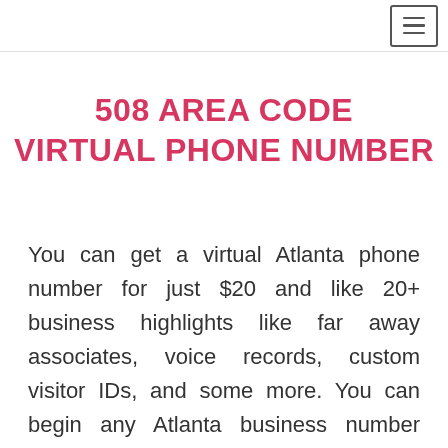[Figure (other): Navigation bar with hamburger menu button (three horizontal lines icon) in top-right corner]
508 AREA CODE VIRTUAL PHONE NUMBER
You can get a virtual Atlanta phone number for just $20 and like 20+ business highlights like far away associates, voice records, custom visitor IDs, and some more. You can begin any Atlanta business number without risk.